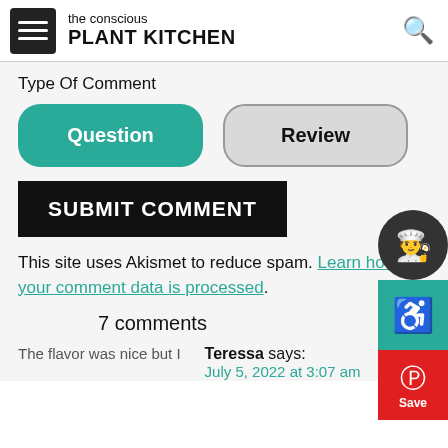the conscious PLANT KITCHEN
Type Of Comment
[Figure (screenshot): Two rounded buttons: 'Question' (teal/selected) and 'Review' (grey/unselected)]
SUBMIT COMMENT
This site uses Akismet to reduce spam. Learn how your comment data is processed.
7 comments
The flavor was nice but I
Teressa says:
July 5, 2022 at 3:07 am